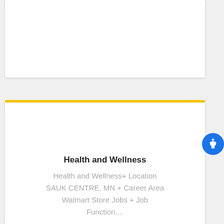[Figure (other): White card panel at top, partially visible, empty content area]
Health and Wellness
Health and Wellness+ Location SAUK CENTRE, MN + Career Area Walmart Store Jobs + Job Function....